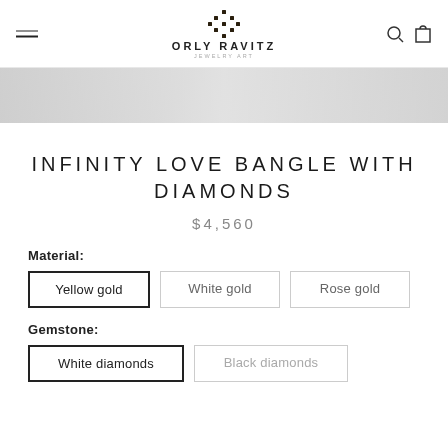ORLY RAVITZ
[Figure (photo): Partial product image strip showing a piece of jewelry against a light background]
INFINITY LOVE BANGLE WITH DIAMONDS
$4,560
Material:
Yellow gold
White gold
Rose gold
Gemstone:
White diamonds
Black diamonds